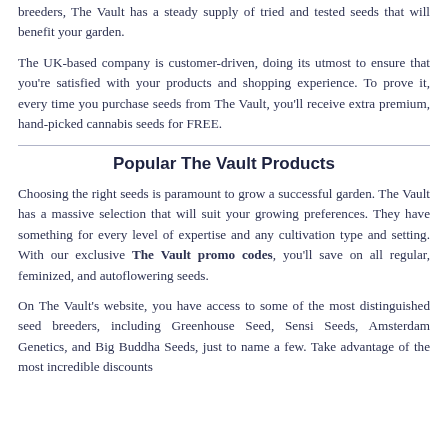breeders, The Vault has a steady supply of tried and tested seeds that will benefit your garden.
The UK-based company is customer-driven, doing its utmost to ensure that you're satisfied with your products and shopping experience. To prove it, every time you purchase seeds from The Vault, you'll receive extra premium, hand-picked cannabis seeds for FREE.
Popular The Vault Products
Choosing the right seeds is paramount to grow a successful garden. The Vault has a massive selection that will suit your growing preferences. They have something for every level of expertise and any cultivation type and setting. With our exclusive The Vault promo codes, you'll save on all regular, feminized, and autoflowering seeds.
On The Vault's website, you have access to some of the most distinguished seed breeders, including Greenhouse Seed, Sensi Seeds, Amsterdam Genetics, and Big Buddha Seeds, just to name a few. Take advantage of the most incredible discounts